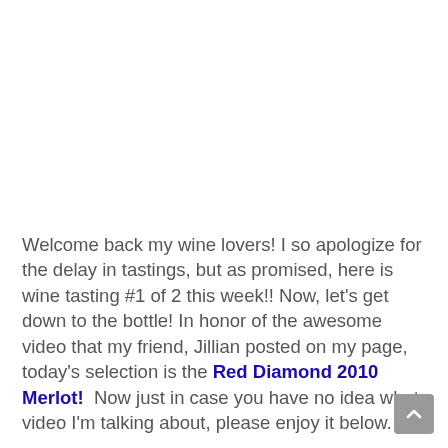Welcome back my wine lovers! I so apologize for the delay in tastings, but as promised, here is wine tasting #1 of 2 this week!! Now, let's get down to the bottle! In honor of the awesome video that my friend, Jillian posted on my page, today's selection is the Red Diamond 2010 Merlot!  Now just in case you have no idea what video I'm talking about, please enjoy it below.